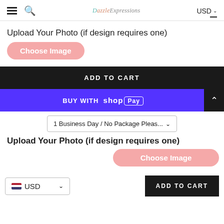≡ 🔍 DazzleExpressions USD
Upload Your Photo (if design requires one)
Choose Image
ADD TO CART
BUY WITH shop Pay
1 Business Day / No Package Pleas...
Upload Your Photo (if design requires one)
Choose Image
USD
ADD TO CART